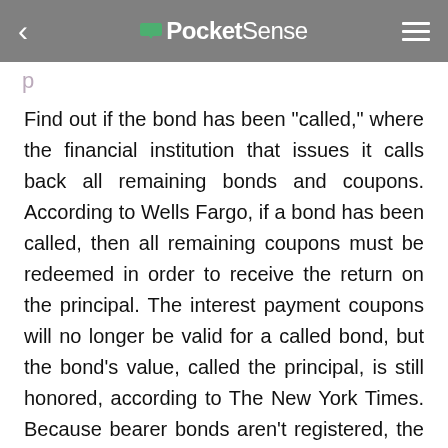PocketSense
Find out if the bond has been "called," where the financial institution that issues it calls back all remaining bonds and coupons. According to Wells Fargo, if a bond has been called, then all remaining coupons must be redeemed in order to receive the return on the principal. The interest payment coupons will no longer be valid for a called bond, but the bond's value, called the principal, is still honored, according to The New York Times. Because bearer bonds aren't registered, the bond issuer notifies the public that it is